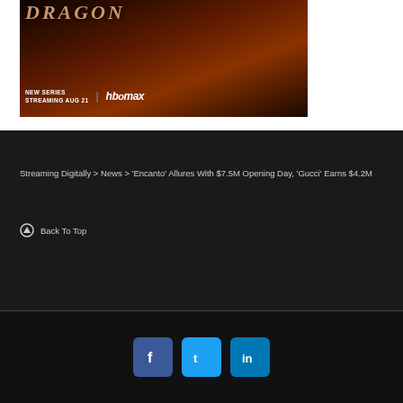[Figure (photo): HBO Max advertisement for 'House of the Dragon' new series streaming Aug 21, showing dragon text on dark orange/brown background with HBO Max logo]
Streaming Digitally > News > 'Encanto' Allures With $7.5M Opening Day, 'Gucci' Earns $4.2M
Back To Top
[Figure (other): Social media icons: Facebook (blue), Twitter (light blue), LinkedIn (blue)]